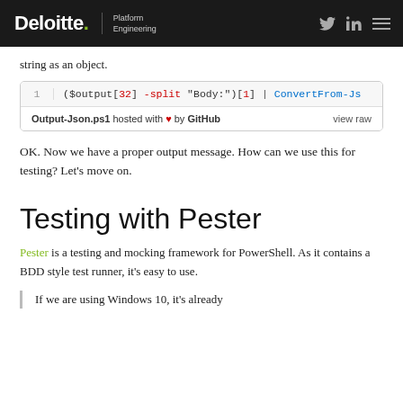Deloitte. Platform Engineering
string as an object.
[Figure (screenshot): Code snippet: ($output[32] -split "Body:")[1] | ConvertFrom-Js; footer: Output-Json.ps1 hosted with ♥ by GitHub  view raw]
OK. Now we have a proper output message. How can we use this for testing? Let's move on.
Testing with Pester
Pester is a testing and mocking framework for PowerShell. As it contains a BDD style test runner, it's easy to use.
If we are using Windows 10, it's already